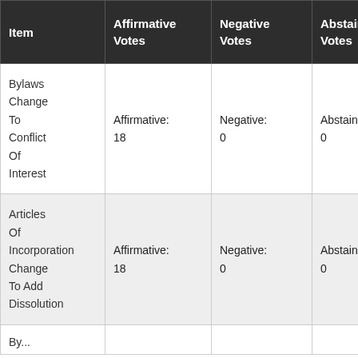| Item | Affirmative Votes | Negative Votes | Abstaining Votes |
| --- | --- | --- | --- |
| Bylaws Change To Conflict Of Interest | Affirmative: 18 | Negative: 0 | Abstaining: 0 |
| Articles Of Incorporation Change To Add Dissolution | Affirmative: 18 | Negative: 0 | Abstaining: 0 |
| Bylaws... |  |  |  |